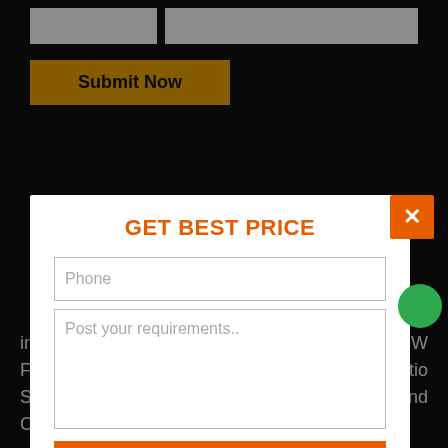[Figure (screenshot): Yellow 'Submit Now' button on dark background, with two white input boxes above it]
GET BEST PRICE
Phone
Post your requirements..
SEND MESSAGE
includes Outdoor Furniture, Rattan Furniture, W Furniture, Poolside Furniture, Bar Furniture, Patio Swings, Office Chairs, Umbrella, Beach Chairs and Outdoor Sofa set in Madhya Pradesh.